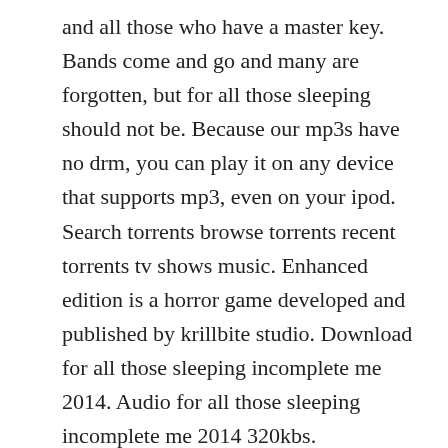and all those who have a master key. Bands come and go and many are forgotten, but for all those sleeping should not be. Because our mp3s have no drm, you can play it on any device that supports mp3, even on your ipod. Search torrents browse torrents recent torrents tv shows music. Enhanced edition is a horror game developed and published by krillbite studio. Download for all those sleeping incomplete me 2014. Audio for all those sleeping incomplete me 2014 320kbs.
For all those sleeping incomplete me official